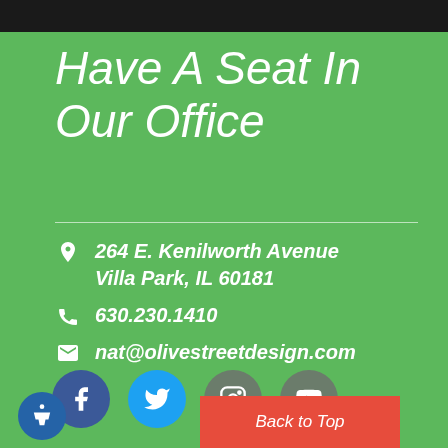Have A Seat In Our Office
264 E. Kenilworth Avenue Villa Park, IL 60181
630.230.1410
nat@olivestreetdesign.com
[Figure (other): Social media icons: Facebook, Twitter, Instagram, YouTube]
Back to Top